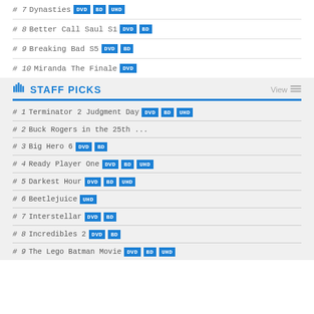# 7 Dynasties DVD BD UHD
# 8 Better Call Saul S1 DVD BD
# 9 Breaking Bad S5 DVD BD
# 10 Miranda The Finale DVD
STAFF PICKS
# 1 Terminator 2 Judgment Day DVD BD UHD
# 2 Buck Rogers in the 25th ...
# 3 Big Hero 6 DVD BD
# 4 Ready Player One DVD BD UHD
# 5 Darkest Hour DVD BD UHD
# 6 Beetlejuice UHD
# 7 Interstellar DVD BD
# 8 Incredibles 2 DVD BD
# 9 The Lego Batman Movie DVD BD UHD